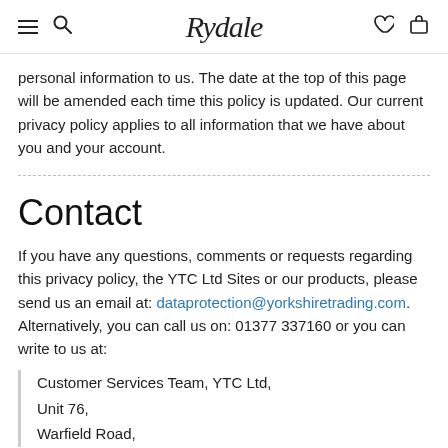Rydale
personal information to us. The date at the top of this page will be amended each time this policy is updated. Our current privacy policy applies to all information that we have about you and your account.
Contact
If you have any questions, comments or requests regarding this privacy policy, the YTC Ltd Sites or our products, please send us an email at: dataprotection@yorkshiretrading.com. Alternatively, you can call us on: 01377 337160 or you can write to us at:
Customer Services Team, YTC Ltd,
Unit 76,
Warfield Road,